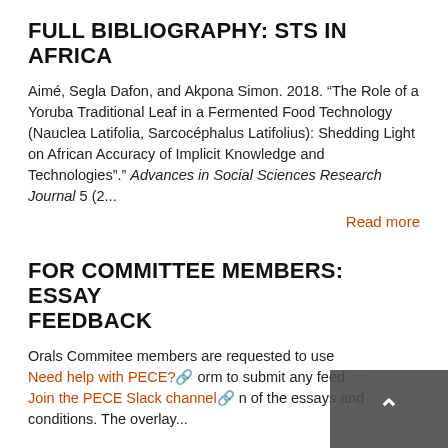FULL BIBLIOGRAPHY: STS IN AFRICA
Aimé, Segla Dafon, and Akpona Simon. 2018. “The Role of a Yoruba Traditional Leaf in a Fermented Food Technology (Nauclea Latifolia, Sarcocéphalus Latifolius): Shedding Light on African Accuracy of Implicit Knowledge and Technologies”.” Advances in Social Sciences Research Journal 5 (2...
Read more
FOR COMMITTEE MEMBERS: ESSAY FEEDBACK
Orals Commitee members are requested to use Need help with PECE? form to submit any feedback Join the PECE Slack channel n of the essays and conditions. The overlay shows a back-to-top arrow.